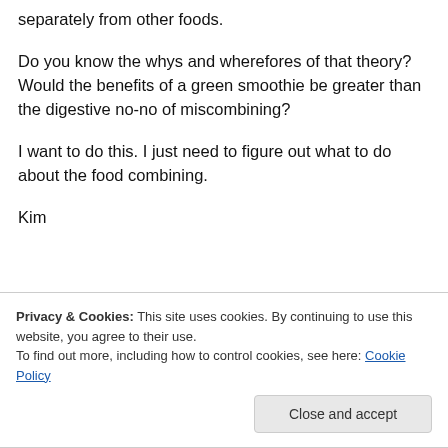separately from other foods.
Do you know the whys and wherefores of that theory? Would the benefits of a green smoothie be greater than the digestive no-no of miscombining?
I want to do this. I just need to figure out what to do about the food combining.
Kim
Privacy & Cookies: This site uses cookies. By continuing to use this website, you agree to their use. To find out more, including how to control cookies, see here: Cookie Policy
Close and accept
get back on track and recommit.